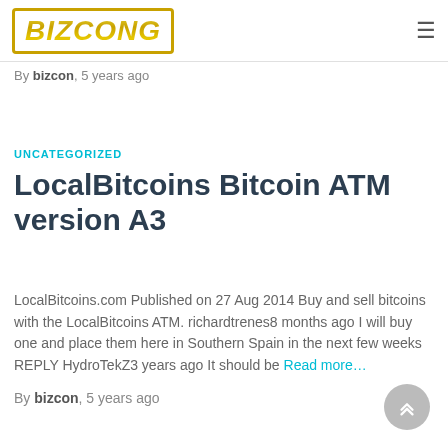BIZCONG
By bizcon, 5 years ago
UNCATEGORIZED
LocalBitcoins Bitcoin ATM version A3
LocalBitcoins.com Published on 27 Aug 2014 Buy and sell bitcoins with the LocalBitcoins ATM. richardtrenes8 months ago I will buy one and place them here in Southern Spain in the next few weeks REPLY HydroTekZ3 years ago It should be Read more…
By bizcon, 5 years ago